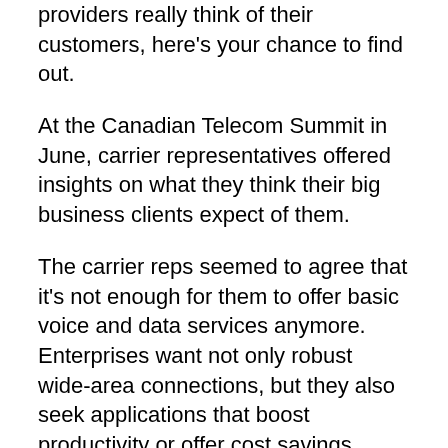providers really think of their customers, here's your chance to find out.
At the Canadian Telecom Summit in June, carrier representatives offered insights on what they think their big business clients expect of them.
The carrier reps seemed to agree that it's not enough for them to offer basic voice and data services anymore. Enterprises want not only robust wide-area connections, but they also seek applications that boost productivity or offer cost savings, service providers say.
Myriad challenges stand before service providers in their quest for corporate Canada's bucks. For instance, Telus faces a paradox regarding its relationship with systems integrators, explained Joe